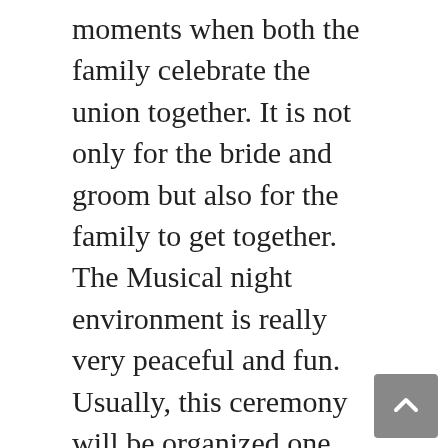moments when both the family celebrate the union together. It is not only for the bride and groom but also for the family to get together. The Musical night environment is really very peaceful and fun. Usually, this ceremony will be organized one day before the wedding. The venue of this event can be a hotel or bride's home. Just like any other important ritual in a Hindu wedding, the Sangeet night ceremony also has some significance. For making it more beautiful and entertaining, you found some Decent & classy 2020 Sangeet theme Ideas in this article. You can easily plan your night at any Venue according to our theme.